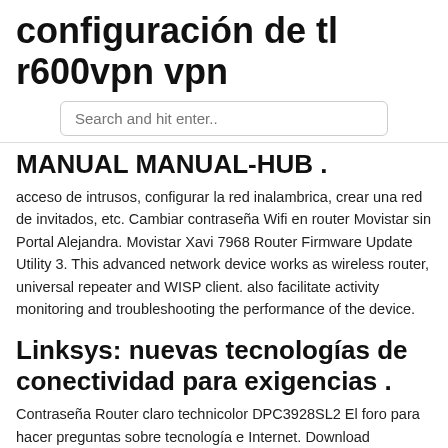configuración de tl r600vpn vpn
[Figure (screenshot): Search bar with placeholder text 'Search and hit enter..']
MANUAL MANUAL-HUB .
acceso de intrusos, configurar la red inalambrica, crear una red de invitados, etc. Cambiar contraseña Wifi en router Movistar sin Portal Alejandra. Movistar Xavi 7968 Router Firmware Update Utility 3. This advanced network device works as wireless router, universal repeater and WISP client. also facilitate activity monitoring and troubleshooting the performance of the device.
Linksys: nuevas tecnologías de conectividad para exigencias .
Contraseña Router claro technicolor DPC3928SL2 El foro para hacer preguntas sobre tecnología e Internet. Download Multiupgrade tool for B315 and B593s-22 router. Algunos Routers Linksys Smart Wi-Fi admiten el modo Repetidor Inalámbrico. AC1900 SMART WI-FI GIGABIT ROUTER User Manual 1 details for FCC ID invitados Nombre de usuario de